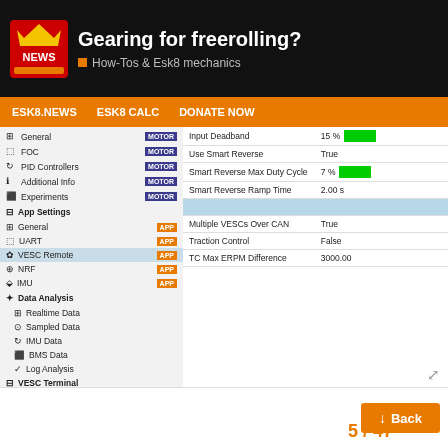Gearing for freerolling? — How-Tos & Esk8 mechanics
ESK8.NEWS | ESK8 CALC | DONATE NOW
[Figure (screenshot): VESC Tool settings sidebar with menu items: General, FOC, PID Controllers, Additional Info, Experiments (all with MOTOR badge), App Settings section with General, UART, VESC Remote (highlighted), NRF, IMU (all with APP badge), Data Analysis with Realtime Data, Sampled Data, IMU Data, BMS Data, Log Analysis, then VESC Terminal, SMD Prog, CAN Analyzer, Debug Console, Settings]
| Setting | Value |
| --- | --- |
| Input Deadband | 15 % |
| Use Smart Reverse | True |
| Smart Reverse Max Duty Cycle | 7 % |
| Smart Reverse Ramp Time | 2.00 s |
| Multiple VESCs Over CAN | True |
| Traction Control | False |
| TC Max ERPM Difference | 3000.00 |
5 / 47